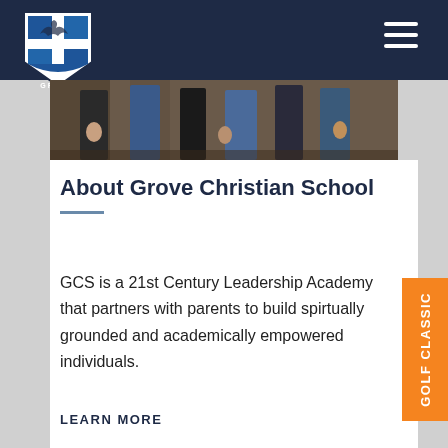[Figure (logo): Grove Christian School shield logo with eagle and cross, blue and white colors, 'GROVE' text below]
[Figure (photo): Partial photo showing students standing outdoors, cropped to show lower bodies and hands]
About Grove Christian School
GCS is a 21st Century Leadership Academy that partners with parents to build spirtually grounded and academically empowered individuals.
LEARN MORE